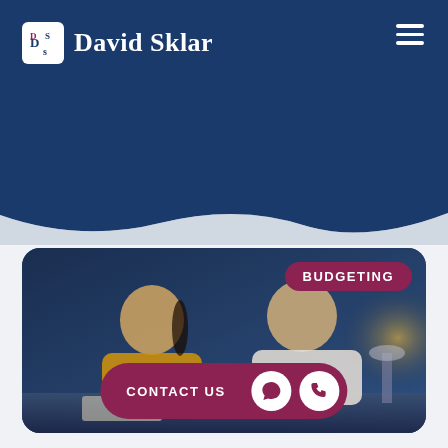David Sklar
[Figure (photo): Two people (woman in yellow shirt and man in white shirt) looking at documents, studying budgeting together at a desk in a dimly lit room]
BUDGETING
CONTACT US